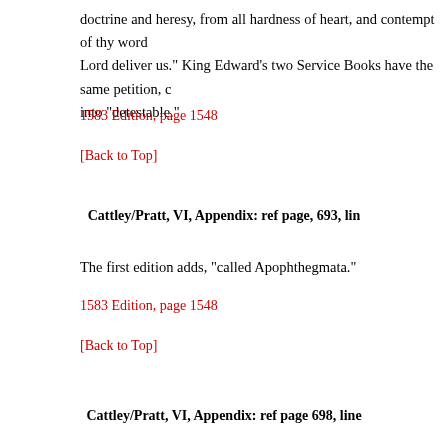doctrine and heresy, from all hardness of heart, and contempt of thy word, Lord deliver us." King Edward's two Service Books have the same petition, c into "detestable."
1583 Edition, page 1548
[Back to Top]
Cattley/Pratt, VI, Appendix: ref page, 693, lin
The first edition adds, "called Apophthegmata."
1583 Edition, page 1548
[Back to Top]
Cattley/Pratt, VI, Appendix: ref page 698, line